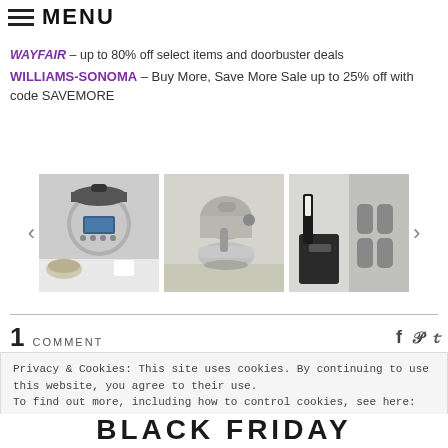MENU
WAYFAIR – up to 80% off select items and doorbuster deals
WILLIAMS-SONOMA – Buy More, Save More Sale up to 25% off with code SAVEMORE
[Figure (photo): Three product images: Instant Pot pressure cooker, KitchenAid stand mixer, and a coffee/soda maker set, shown in a carousel with left and right navigation arrows]
1 COMMENT
Privacy & Cookies: This site uses cookies. By continuing to use this website, you agree to their use.
To find out more, including how to control cookies, see here:
Privacy Policy
Close and accept
BLACK FRIDAY